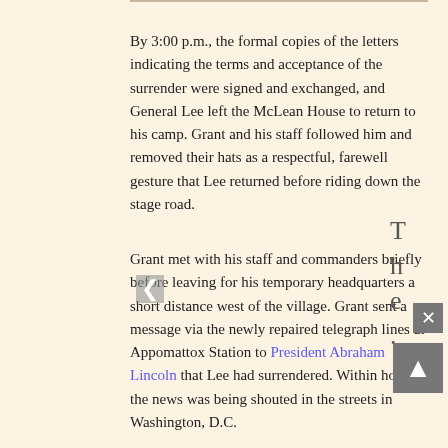By 3:00 p.m., the formal copies of the letters indicating the terms and acceptance of the surrender were signed and exchanged, and General Lee left the McLean House to return to his camp. Grant and his staff followed him and removed their hats as a respectful, farewell gesture that Lee returned before riding down the stage road.
Grant met with his staff and commanders briefly before leaving for his temporary headquarters a short distance west of the village. Grant sent a message via the newly repaired telegraph lines at Appomattox Station to President Abraham Lincoln that Lee had surrendered. Within hours the news was being shouted in the streets in Washington, D.C.
[Figure (photo): Interior room photo showing walls, framed paintings, and what appears to be a fireplace mantle area — likely inside the McLean House historical site.]